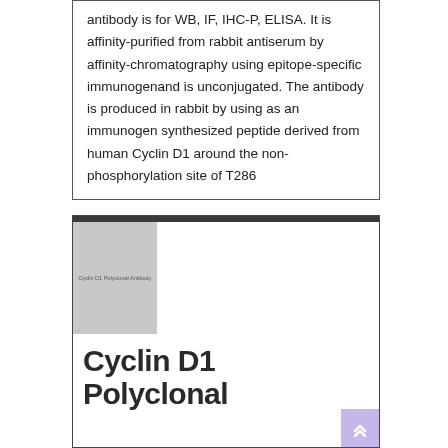antibody is for WB, IF, IHC-P, ELISA. It is affinity-purified from rabbit antiserum by affinity-chromatography using epitope-specific immunogenand is unconjugated. The antibody is produced in rabbit by using as an immunogen synthesized peptide derived from human Cyclin D1 around the non-phosphorylation site of T286
[Figure (other): Product card for Cyclin D1 Polyclonal Antibody with a grey thumbnail image placeholder labeled 'Cyclin D1 Polyclonal Antibody', a dark top border bar, and large bold title text reading 'Cyclin D1 Polyclonal' with a lavender scroll-to-top button in the bottom right corner.]